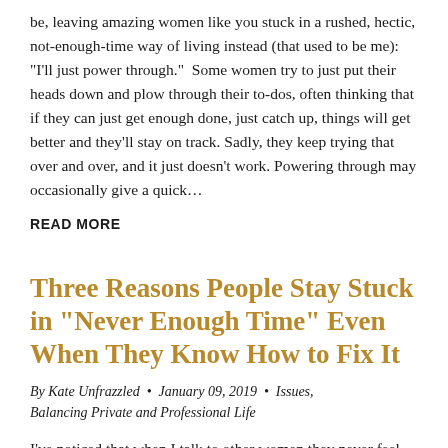be, leaving amazing women like you stuck in a rushed, hectic, not-enough-time way of living instead (that used to be me): "I'll just power through."  Some women try to just put their heads down and plow through their to-dos, often thinking that if they can just get enough done, just catch up, things will get better and they'll stay on track. Sadly, they keep trying that over and over, and it just doesn't work. Powering through may occasionally give a quick…
READ MORE
Three Reasons People Stay Stuck in “Never Enough Time” Even When They Know How to Fix It
By Kate Unfrazzled  •  January 09, 2019  •  Issues, Balancing Private and Professional Life
I've noticed that when I talk to other women they never feel like they have enough time to get everything done.